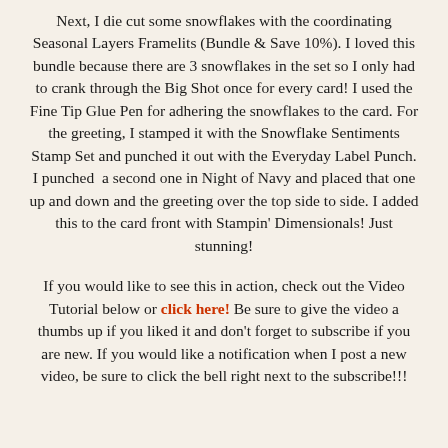Next, I die cut some snowflakes with the coordinating Seasonal Layers Framelits (Bundle & Save 10%). I loved this bundle because there are 3 snowflakes in the set so I only had to crank through the Big Shot once for every card! I used the Fine Tip Glue Pen for adhering the snowflakes to the card. For the greeting, I stamped it with the Snowflake Sentiments Stamp Set and punched it out with the Everyday Label Punch. I punched a second one in Night of Navy and placed that one up and down and the greeting over the top side to side. I added this to the card front with Stampin' Dimensionals! Just stunning!
If you would like to see this in action, check out the Video Tutorial below or click here! Be sure to give the video a thumbs up if you liked it and don't forget to subscribe if you are new. If you would like a notification when I post a new video, be sure to click the bell right next to the subscribe!!!